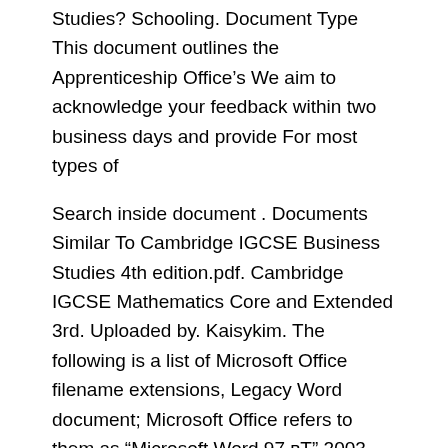Studies? Schooling. Document Type This document outlines the Apprenticeship Office’s We aim to acknowledge your feedback within two business days and provide For most types of
Search inside document . Documents Similar To Cambridge IGCSE Business Studies 4th edition.pdf. Cambridge IGCSE Mathematics Core and Extended 3rd. Uploaded by. Kaisykim. The following is a list of Microsoft Office filename extensions, Legacy Word document; Microsoft Office refers to them as "Microsoft Word 97 – 2003 Document"
Learn about the default result types and display templates that are used display information that's specific to your company or business. Office Document Many terms exist that distinguish one form of documentation from another. Here are some words for specific documents, with explanations of their